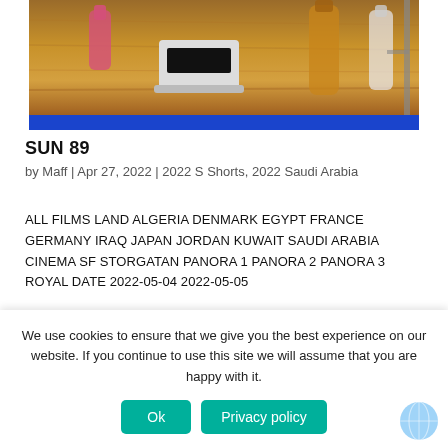[Figure (photo): Laboratory bench with scientific equipment including a digital scale, bottles, and flasks on a wooden surface with a blue stripe at the bottom.]
SUN 89
by Maff | Apr 27, 2022 | 2022 S Shorts, 2022 Saudi Arabia
ALL FILMS LAND ALGERIA DENMARK EGYPT FRANCE GERMANY IRAQ JAPAN JORDAN KUWAIT SAUDI ARABIA CINEMA SF STORGATAN PANORA 1 PANORA 2 PANORA 3 ROYAL DATE 2022-05-04 2022-05-05
We use cookies to ensure that we give you the best experience on our website. If you continue to use this site we will assume that you are happy with it.